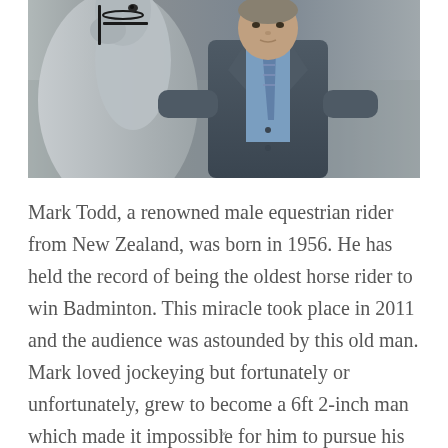[Figure (photo): A man in a grey suit and blue striped tie stands next to a grey horse. The man has his hand on the horse's neck. The background is blurred outdoor setting.]
Mark Todd, a renowned male equestrian rider from New Zealand, was born in 1956. He has held the record of being the oldest horse rider to win Badminton. This miracle took place in 2011 and the audience was astounded by this old man. Mark loved jockeying but fortunately or unfortunately, grew to become a 6ft 2-inch man which made it impossible for him to pursue his career as a jockey. So, he settled to become a
×